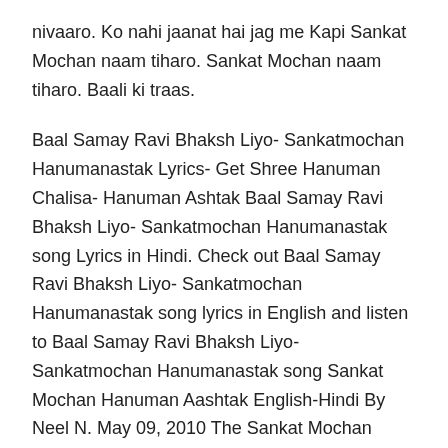nivaaro. Ko nahi jaanat hai jag me Kapi Sankat Mochan naam tiharo. Sankat Mochan naam tiharo. Baali ki traas.
Baal Samay Ravi Bhaksh Liyo- Sankatmochan Hanumanastak Lyrics- Get Shree Hanuman Chalisa- Hanuman Ashtak Baal Samay Ravi Bhaksh Liyo- Sankatmochan Hanumanastak song Lyrics in Hindi. Check out Baal Samay Ravi Bhaksh Liyo- Sankatmochan Hanumanastak song lyrics in English and listen to Baal Samay Ravi Bhaksh Liyo- Sankatmochan Hanumanastak song Sankat Mochan Hanuman Aashtak English-Hindi By Neel N. May 09, 2010 The Sankat Mochan Hanuman Aashtak is an eight verse prayer in praise of the Hindu God of courage, strength, confidence and devotion Hanuman. Hanuman is also considered to be an Avatar of Shiva who manifested in order to help Ram, an Avatar of Vishnu overcome the evil forces who had grouped under the King of Lanka ...